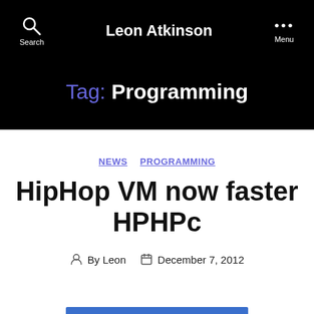Leon Atkinson
Tag: Programming
NEWS  PROGRAMMING
HipHop VM now faster HPHPc
By Leon  December 7, 2012